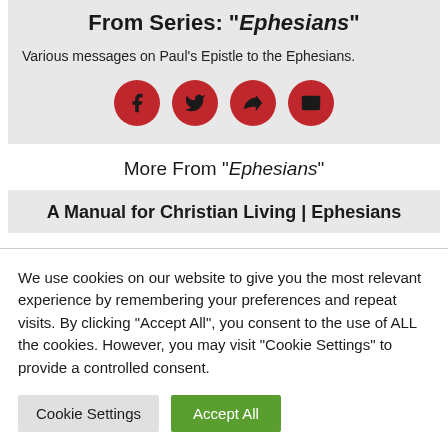From Series: "Ephesians"
Various messages on Paul's Epistle to the Ephesians.
[Figure (other): Four red circular social sharing buttons: Facebook, Twitter, Share/Forward, Email]
More From "Ephesians"
A Manual for Christian Living | Ephesians
We use cookies on our website to give you the most relevant experience by remembering your preferences and repeat visits. By clicking “Accept All”, you consent to the use of ALL the cookies. However, you may visit “Cookie Settings” to provide a controlled consent.